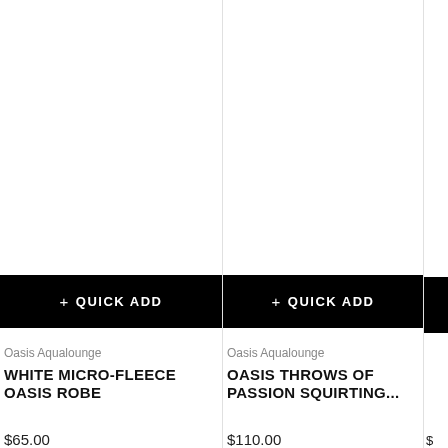[Figure (photo): White micro-fleece robe product image (white background, image area mostly white/empty in this crop)]
+ QUICK ADD
Oasis Aqualounge
WHITE MICRO-FLEECE OASIS ROBE
$65.00
[Figure (photo): Oasis Throws of Passion product image (white background)]
+ QUICK ADD
Oasis Aqualounge
OASIS THROWS OF PASSION SQUIRTING...
$110.00
[Figure (photo): Partial third product card, cropped on right edge]
$